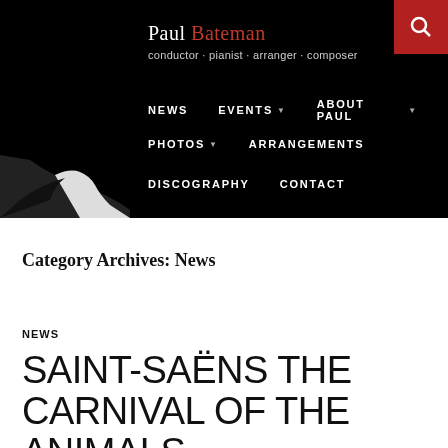[Figure (photo): Black and white profile portrait of Paul Bateman, a conductor, viewed from the side against a black background]
Paul Bateman · conductor · pianist · arranger · composer
NEWS | EVENTS ▾ | ABOUT PAUL ▾ | PHOTOS ▾ | ARRANGEMENTS | DISCOGRAPHY | CONTACT
Category Archives: News
NEWS
SAINT-SAËNS THE CARNIVAL OF THE ANIMALS